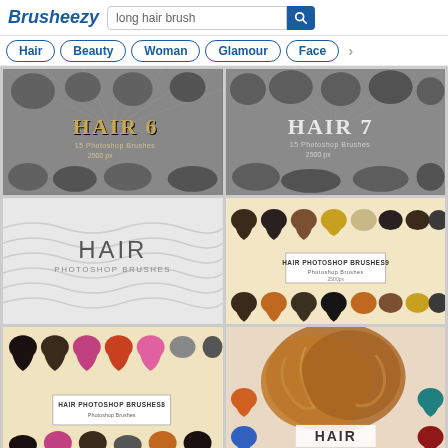Brusheezy — long hair brush
Hair
Beauty
Woman
Glamour
Face
[Figure (screenshot): Hair 6 - 15 Photoshop Brushes 2500px brush pack thumbnail on gray background with silhouette hair shapes]
[Figure (screenshot): Hair 7 - 15 Photoshop Brushes 2500px brush pack thumbnail on gray background with silhouette hair shapes]
[Figure (screenshot): Hair Photoshop Brushes plain text thumbnail on white/light wavy background]
[Figure (screenshot): Hair Photoshop Brushes 9 - colorful wig/hairstyle icons on cream background]
[Figure (screenshot): Hair Photoshop Brushes 8 - colorful hairstyle icons on cream background (partial)]
[Figure (screenshot): Hair brush thumbnail showing realistic hair photo with colored hair icons (partial)]